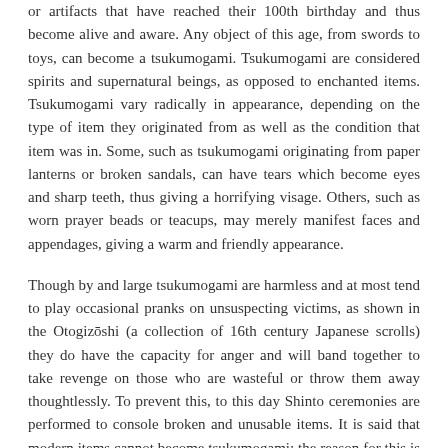or artifacts that have reached their 100th birthday and thus become alive and aware. Any object of this age, from swords to toys, can become a tsukumogami. Tsukumogami are considered spirits and supernatural beings, as opposed to enchanted items. Tsukumogami vary radically in appearance, depending on the type of item they originated from as well as the condition that item was in. Some, such as tsukumogami originating from paper lanterns or broken sandals, can have tears which become eyes and sharp teeth, thus giving a horrifying visage. Others, such as worn prayer beads or teacups, may merely manifest faces and appendages, giving a warm and friendly appearance.
Though by and large tsukumogami are harmless and at most tend to play occasional pranks on unsuspecting victims, as shown in the Otogizōshi (a collection of 16th century Japanese scrolls) they do have the capacity for anger and will band together to take revenge on those who are wasteful or throw them away thoughtlessly. To prevent this, to this day Shinto ceremonies are performed to console broken and unusable items. It is said that modern items cannot become tsukumogami; the reason for this is that